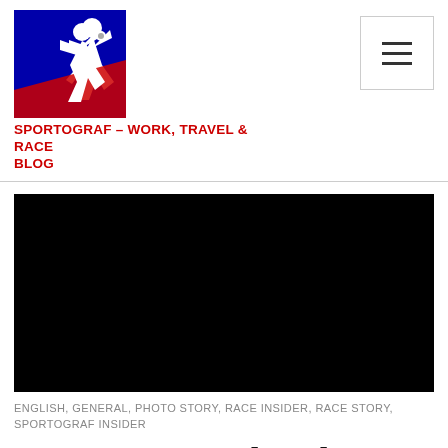[Figure (logo): Sportograf logo: blue square with red/white running figure holding a camera]
SPORTOGRAF – WORK, TRAVEL & RACE BLOG
[Figure (photo): Black hero image banner]
ENGLISH, GENERAL, PHOTO STORY, RACE INSIDER, RACE STORY, SPORTOGRAF INSIDER
Two years in the